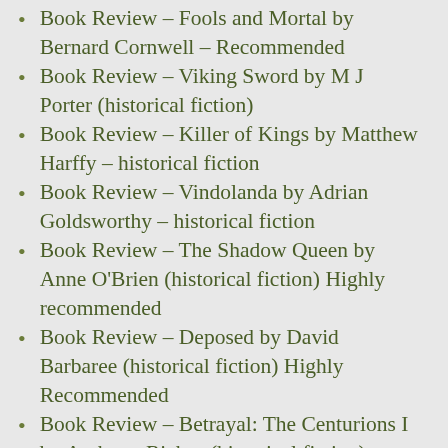Book Review – Fools and Mortal by Bernard Cornwell – Recommended
Book Review – Viking Sword by M J Porter (historical fiction)
Book Review – Killer of Kings by Matthew Harffy – historical fiction
Book Review – Vindolanda by Adrian Goldsworthy – historical fiction
Book Review – The Shadow Queen by Anne O'Brien (historical fiction) Highly recommended
Book Review – Deposed by David Barbaree (historical fiction) Highly Recommended
Book Review – Betrayal: The Centurions I by Anthony Riches (historical fiction)
Book Review – Eagles in the Storm by Ben Kane (historical fiction)